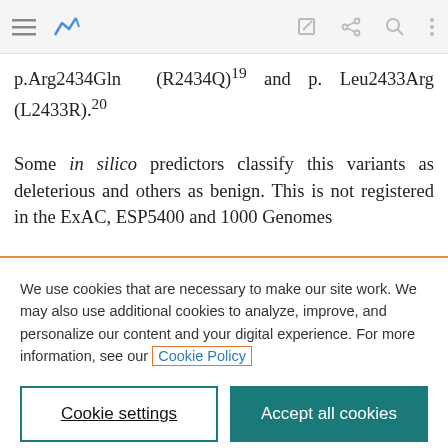Navigation bar with menu, analytics, edit, share, search, and more icons
p.Arg2434Gln (R2434Q)19 and p. Leu2433Arg (L2433R).20
Some in silico predictors classify this variants as deleterious and others as benign. This is not registered in the ExAC, ESP5400 and 1000 Genomes
We use cookies that are necessary to make our site work. We may also use additional cookies to analyze, improve, and personalize our content and your digital experience. For more information, see our Cookie Policy
Cookie settings
Accept all cookies